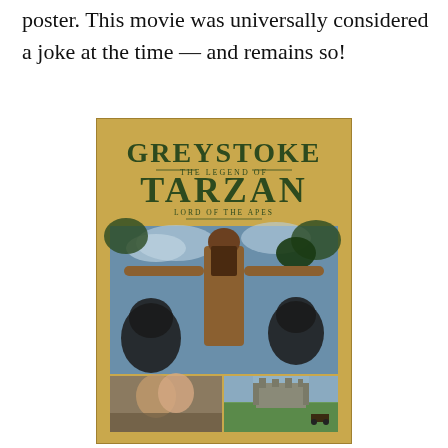poster. This movie was universally considered a joke at the time — and remains so!
[Figure (illustration): Movie poster for Greystoke: The Legend of Tarzan, Lord of the Apes. Gold/tan background with large stylized title text. A central photo shows a long-haired man (Tarzan) with arms outstretched among apes. Below are two smaller photos: one of a romantic couple, one of a castle in a green landscape.]